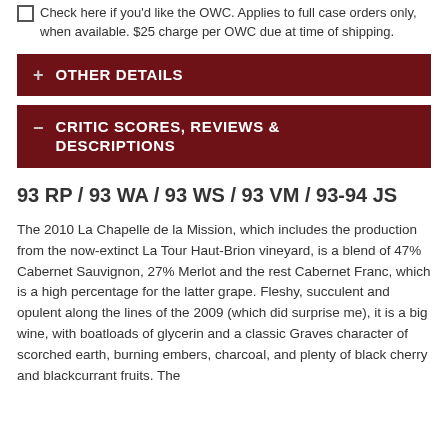Check here if you'd like the OWC. Applies to full case orders only, when available. $25 charge per OWC due at time of shipping.
+ OTHER DETAILS
− CRITIC SCORES, REVIEWS & DESCRIPTIONS
93 RP / 93 WA / 93 WS / 93 VM / 93-94 JS
The 2010 La Chapelle de la Mission, which includes the production from the now-extinct La Tour Haut-Brion vineyard, is a blend of 47% Cabernet Sauvignon, 27% Merlot and the rest Cabernet Franc, which is a high percentage for the latter grape. Fleshy, succulent and opulent along the lines of the 2009 (which did surprise me), it is a big wine, with boatloads of glycerin and a classic Graves character of scorched earth, burning embers, charcoal, and plenty of black cherry and blackcurrant fruits. The